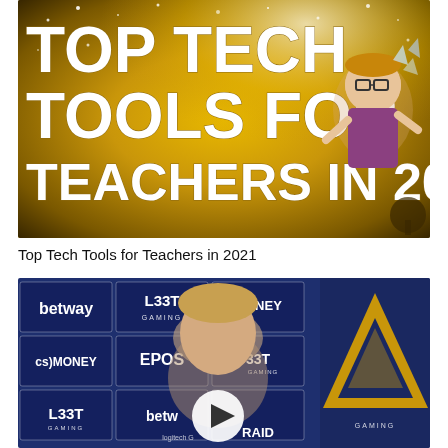[Figure (illustration): Thumbnail image with golden glitter background showing large bold white text 'TOP TECH TOOLS FOR TEACHERS IN 2021' with a cartoon bitmoji teacher character and fireworks/sparkles decoration]
Top Tech Tools for Teachers in 2021
[Figure (screenshot): Video thumbnail showing a young man at a press conference backdrop with sponsor logos including betway, L33T Gaming, CS.MONEY, EPOS, RAID, and a gold triangular logo on the right. A white play button circle is overlaid at the bottom center.]